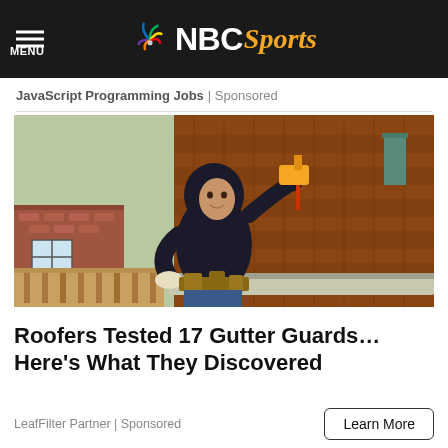NBC Sports
JavaScript Programming Jobs | Sponsored
[Figure (photo): A worker in a black hoodie and tool belt uses a power drill while working on a residential roof with brown shingles, installing or adjusting a gutter. Trees and a brick house are visible in the background.]
Roofers Tested 17 Gutter Guards… Here's What They Discovered
LeafFilter Partner | Sponsored